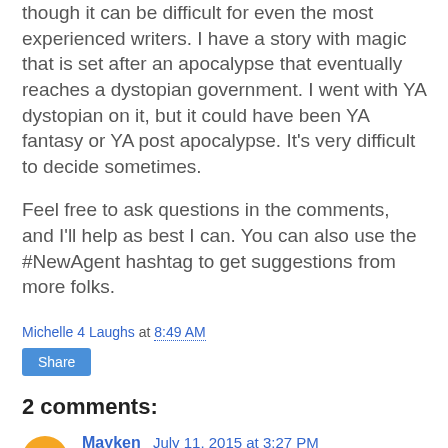though it can be difficult for even the most experienced writers. I have a story with magic that is set after an apocalypse that eventually reaches a dystopian government. I went with YA dystopian on it, but it could have been YA fantasy or YA post apocalypse. It's very difficult to decide sometimes.
Feel free to ask questions in the comments, and I'll help as best I can. You can also use the #NewAgent hashtag to get suggestions from more folks.
Michelle 4 Laughs at 8:49 AM
Share
2 comments:
Mayken  July 11, 2015 at 3:27 PM
Hi Michelle!
I'm confused with epic vs. high fantasy, could you give a